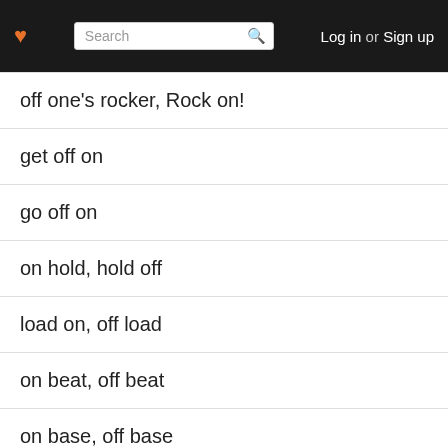Log in or Sign up
off one's rocker, Rock on!
get off on
go off on
on hold, hold off
load on, off load
on beat, off beat
on base, off base
on call, call off